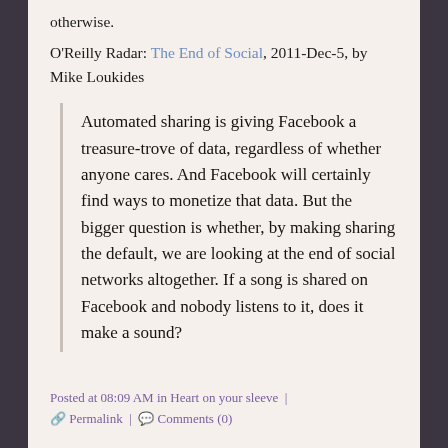otherwise.
O'Reilly Radar: The End of Social, 2011-Dec-5, by Mike Loukides
Automated sharing is giving Facebook a treasure-trove of data, regardless of whether anyone cares. And Facebook will certainly find ways to monetize that data. But the bigger question is whether, by making sharing the default, we are looking at the end of social networks altogether. If a song is shared on Facebook and nobody listens to it, does it make a sound?
Posted at 08:09 AM in Heart on your sleeve | Permalink | Comments (0)